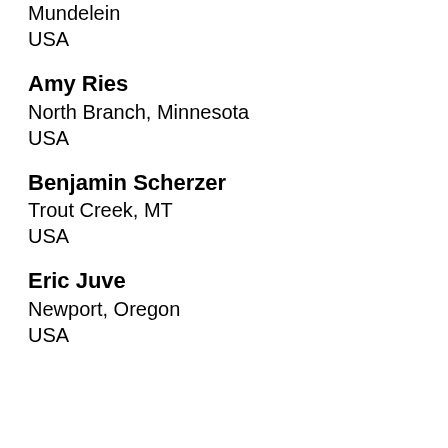Mundelein
USA
Amy Ries
North Branch, Minnesota
USA
Benjamin Scherzer
Trout Creek, MT
USA
Eric Juve
Newport, Oregon
USA